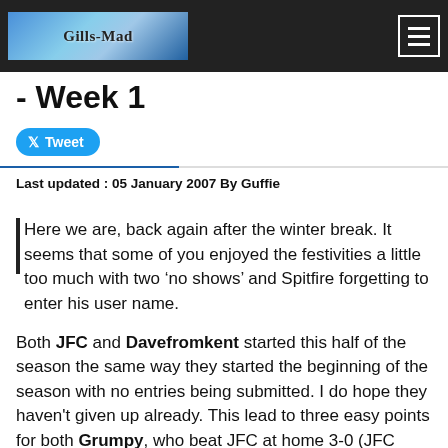Gills-Mad
- Week 1
Tweet
Last updated : 05 January 2007 By Guffie
Here we are, back again after the winter break. It seems that some of you enjoyed the festivities a little too much with two ‘no shows’ and Spitfire forgetting to enter his user name.
Both JFC and Davefromkent started this half of the season the same way they started the beginning of the season with no entries being submitted. I do hope they haven't given up already. This lead to three easy points for both Grumpy, who beat JFC at home 3-0 (JFC must know you have to look after the 'old 'uns' in winter), and Elsie